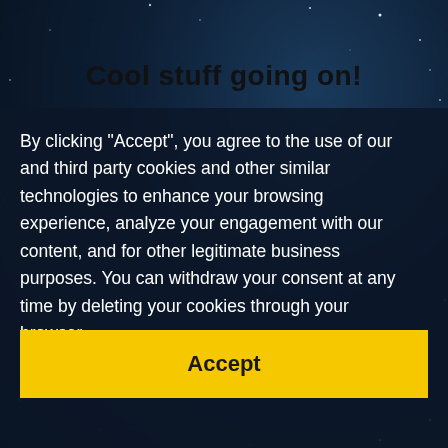Cool stuff going on!
By clicking "Accept", you agree to the use of our and third party cookies and other similar technologies to enhance your browsing experience, analyze your engagement with our content, and for other legitimate business purposes. You can withdraw your consent at any time by deleting your cookies through your browser.
Accept